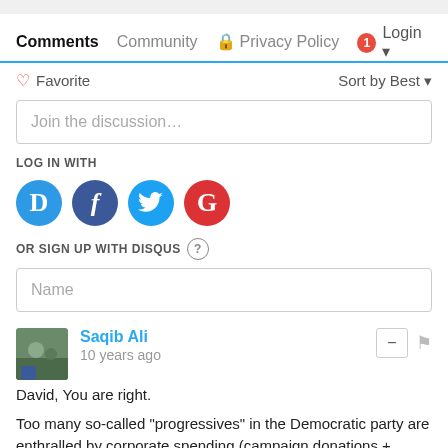Comments | Community | Privacy Policy | Login
Favorite   Sort by Best
Join the discussion…
LOG IN WITH
[Figure (infographic): Social login icons: Disqus (blue D), Facebook (blue f), Twitter (blue bird), Google (red G)]
OR SIGN UP WITH DISQUS ?
Name
Saqib Ali
10 years ago
David, You are right.

Too many so-called "progressives" in the Democratic party are enthralled by corporate spending (campaign donations + hiring)